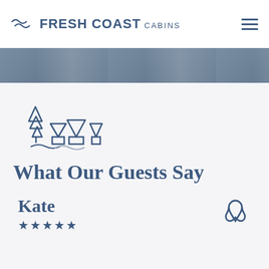Fresh Coast Cabins
[Figure (photo): Partial hero image showing cabin exterior in snowy/winter setting]
[Figure (illustration): Fresh Coast Cabins logo icon with pine trees, rooftops, and water waves]
What Our Guests Say
Kate
[Figure (logo): Airbnb logo (outline loop symbol)]